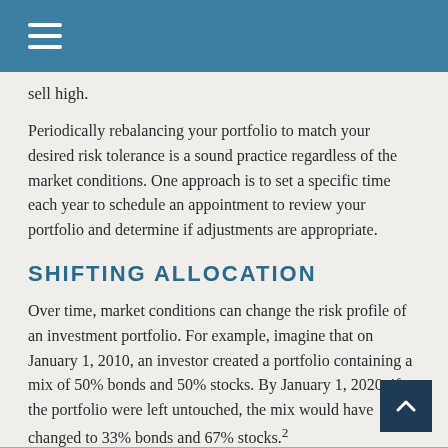sell high.
Periodically rebalancing your portfolio to match your desired risk tolerance is a sound practice regardless of the market conditions. One approach is to set a specific time each year to schedule an appointment to review your portfolio and determine if adjustments are appropriate.
SHIFTING ALLOCATION
Over time, market conditions can change the risk profile of an investment portfolio. For example, imagine that on January 1, 2010, an investor created a portfolio containing a mix of 50% bonds and 50% stocks. By January 1, 2020, if the portfolio were left untouched, the mix would have changed to 33% bonds and 67% stocks.²